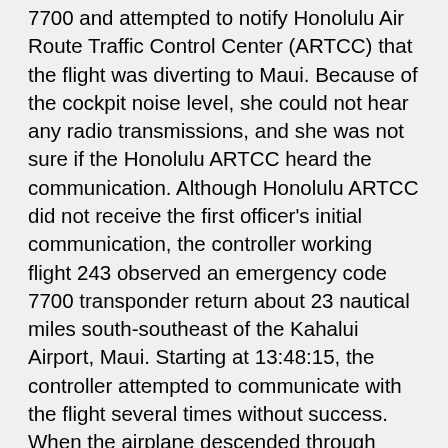7700 and attempted to notify Honolulu Air Route Traffic Control Center (ARTCC) that the flight was diverting to Maui. Because of the cockpit noise level, she could not hear any radio transmissions, and she was not sure if the Honolulu ARTCC heard the communication. Although Honolulu ARTCC did not receive the first officer's initial communication, the controller working flight 243 observed an emergency code 7700 transponder return about 23 nautical miles south-southeast of the Kahalui Airport, Maui. Starting at 13:48:15, the controller attempted to communicate with the flight several times without success. When the airplane descended through 14,000 feet, the first officer switched the radio to the Maui Tower frequency. At 13:48:35, she informed the tower of the rapid decompression, declared an emergency, and stated the need for emergency equipment. The local controller instructed flight 243 to change to the Maui Sector transponder code to identify the flight and indicate to emergency dispatch officers at d (ATC) faciliti